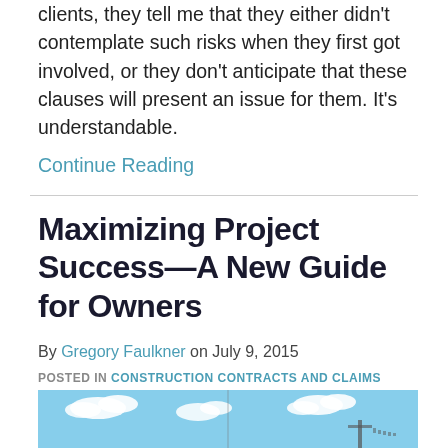clients, they tell me that they either didn't contemplate such risks when they first got involved, or they don't anticipate that these clauses will present an issue for them.  It's understandable.
Continue Reading
Maximizing Project Success—A New Guide for Owners
By Gregory Faulkner on July 9, 2015
POSTED IN CONSTRUCTION CONTRACTS AND CLAIMS
[Figure (photo): Outdoor construction site photo showing blue sky with clouds and what appears to be a building structure or crane in the background]